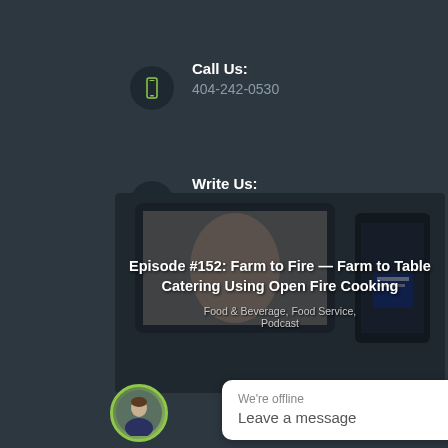Call Us:
404-242-0530
Write Us:
tracy@thrivemeetings.com
[Figure (screenshot): Episode card for Episode #152: Farm to Fire — Farm to Table Catering Using Open Fire Cooking, with Food & Beverage, Food Service, Podcast tags, shown on tablet mockup]
We're offline
Leave a message